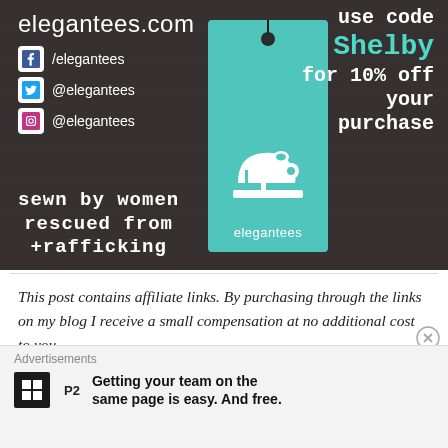[Figure (photo): Elegantees promotional photo showing a teal clothing tag with a sewing machine logo and text 'elegantees', overlaid on dark fabric. Left side shows website elegantees.com and social media handles /elegantees and @elegantees for Facebook, Twitter, Instagram. Bottom left text reads 'sewn by women rescued from trafficking'. Top right text reads 'use code SHELBY for 10% off your purchase'.]
This post contains affiliate links. By purchasing through the links on my blog I receive a small compensation at no additional cost to you.
Advertisements
Getting your team on the same page is easy. And free.